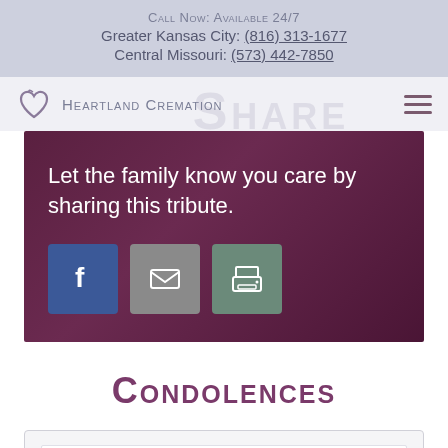Call Now: Available 24/7
Greater Kansas City: (816) 313-1677
Central Missouri: (573) 442-7850
[Figure (logo): Heartland Cremation logo with heart icon and text]
Let the family know you care by sharing this tribute.
[Figure (infographic): Share buttons: Facebook, Email, Print]
Condolences